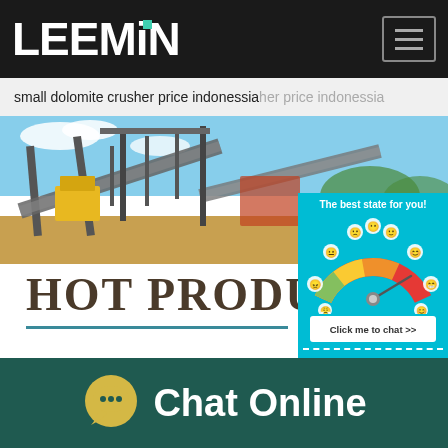LEEMIN
small dolomite crusher price indonessia her price indonessia
[Figure (photo): Mining/industrial facility with conveyor belts and heavy equipment against blue sky]
[Figure (infographic): Right panel overlay with teal background showing a satisfaction gauge/meter with emoji faces and a 'Click me to chat >>' button, plus 'The best state for you!' text and 'Enquiry' label]
HOT PRODUCTS
[Figure (infographic): Chat Online footer with speech bubble icon and 'Chat Online' text on dark teal background]